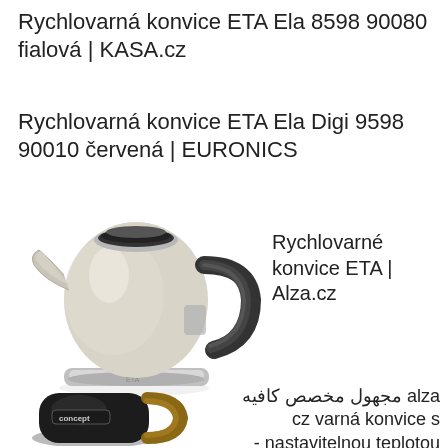Rychlovarná konvice ETA Ela 8598 90080 fialová | KASA.cz
Rychlovarná konvice ETA Ela Digi 9598 90010 červená | EURONICS
[Figure (photo): Photo of a beige/cream ETA electric kettle with black handle and chrome base]
Rychlovarné konvice ETA | Alza.cz
[Figure (photo): Photo of a dark/black Concept electric kettle with wooden handle]
alza مجهول مخصص كافيه cz varná konvice s nastavitelnou teplotou -